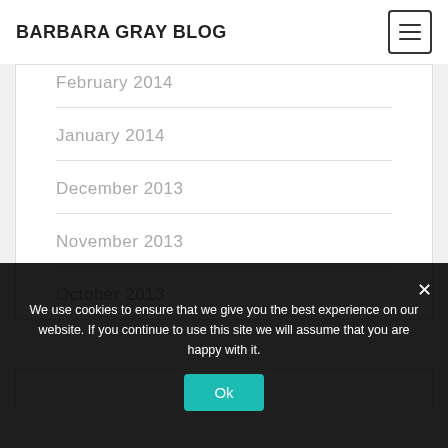BARBARA GRAY BLOG
February 2014
January 2014
December 2013
November 2013
October 2013
We use cookies to ensure that we give you the best experience on our website. If you continue to use this site we will assume that you are happy with it.
Ok